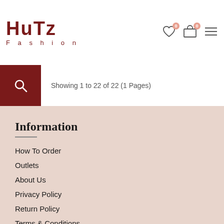[Figure (logo): HUTZ Fashion logo in dark red/maroon color with large bold letters and 'Fashion' subtitle in spaced lettering]
Showing 1 to 22 of 22 (1 Pages)
Information
How To Order
Outlets
About Us
Privacy Policy
Return Policy
Terms & Conditions
Contact Us